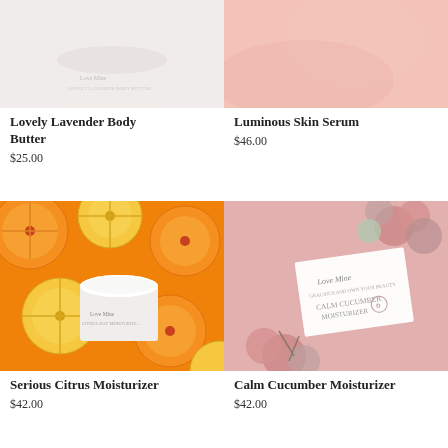[Figure (photo): Top portion of lavender body butter product image (cropped at top)]
Lovely Lavender Body Butter
$25.00
[Figure (photo): Top portion of luminous skin serum product image (cropped at top) showing hand/skin in pink tones]
Luminous Skin Serum
$46.00
[Figure (photo): Serious Citrus Moisturizer product jar on background of sliced oranges, grapefruits and lemons]
Serious Citrus Moisturizer
$42.00
[Figure (photo): Calm Cucumber Moisturizer product box on pink background with pink flowers]
Calm Cucumber Moisturizer
$42.00